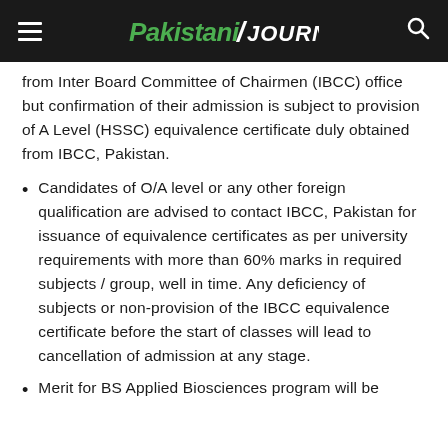Pakistani Journal
from Inter Board Committee of Chairmen (IBCC) office but confirmation of their admission is subject to provision of A Level (HSSC) equivalence certificate duly obtained from IBCC, Pakistan.
Candidates of O/A level or any other foreign qualification are advised to contact IBCC, Pakistan for issuance of equivalence certificates as per university requirements with more than 60% marks in required subjects / group, well in time. Any deficiency of subjects or non-provision of the IBCC equivalence certificate before the start of classes will lead to cancellation of admission at any stage.
Merit for BS Applied Biosciences program will be